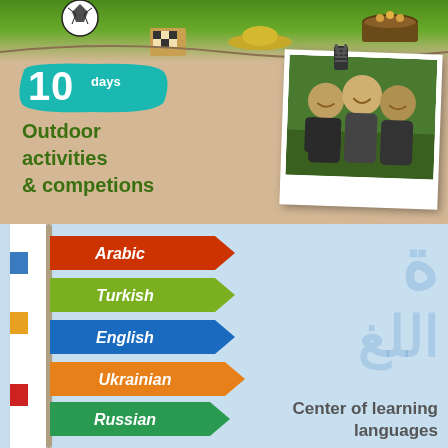[Figure (infographic): Top panel: tan/beige background with green top strip showing sports items (soccer ball, chess board, hat, food). A teal splash badge reads '10 days'. Below it text says 'Outdoor activities & competions'. On the right is a polaroid-style photo of three boys laughing outdoors, attached with a binder clip.]
10 days
Outdoor activities & competions
[Figure (infographic): Bottom panel: light blue background with a white book spine on the left with colored tabs. Five directional arrow signs pointing right are labeled: Arabic (red/orange), Turkish (green), English (blue), Ukrainian (orange), Russian (green). On the right is a faint Arabic script watermark. Bottom right text reads 'Center of learning languages'.]
Arabic
Turkish
English
Ukrainian
Russian
Center of learning languages